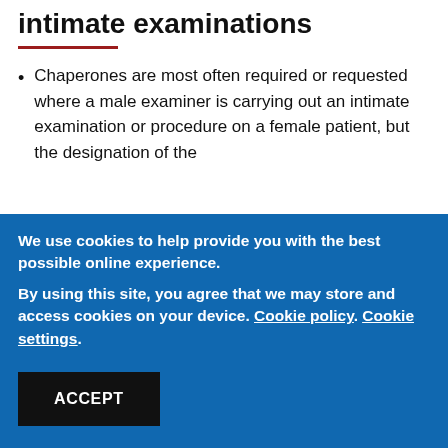intimate examinations
Chaperones are most often required or requested where a male examiner is carrying out an intimate examination or procedure on a female patient, but the designation of the
We use cookies to help provide you with the best possible online experience.
By using this site, you agree that we may store and access cookies on your device. Cookie policy. Cookie settings.